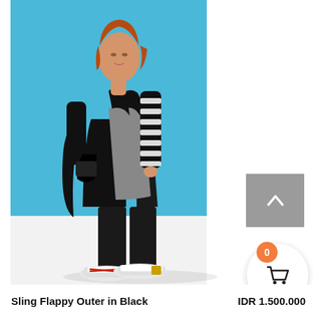[Figure (photo): A woman wearing a black sling flappy outer jacket with black and white striped sleeves, a grey top, black pants, and colorful sneakers (red and gold), posed against a light blue backdrop with a white floor.]
Sling Flappy Outer in Black
IDR 1.500.000